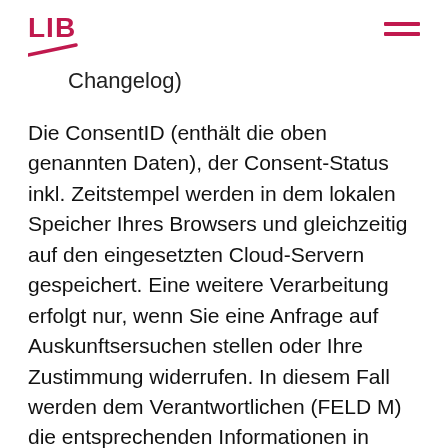LIB
Changelog)
Die ConsentID (enthält die oben genannten Daten), der Consent-Status inkl. Zeitstempel werden in dem lokalen Speicher Ihres Browsers und gleichzeitig auf den eingesetzten Cloud-Servern gespeichert. Eine weitere Verarbeitung erfolgt nur, wenn Sie eine Anfrage auf Auskunftsersuchen stellen oder Ihre Zustimmung widerrufen. In diesem Fall werden dem Verantwortlichen (FELD M) die entsprechenden Informationen in einem kompakten Datenformat in einer einfach lesbaren Textform zum Zweck des Datenaustausches bereitgestellt (JSON-File).